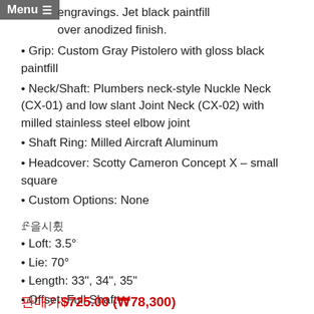Menu
engravings. Jet black paintfill over anodized finish.
• Grip: Custom Gray Pistolero with gloss black paintfill
• Neck/Shaft: Plumbers neck-style Nuckle Neck (CX-01) and low slant Joint Neck (CX-02) with milled stainless steel elbow joint
• Shaft Ring: Milled Aircraft Aluminum
• Headcover: Scotty Cameron Concept X – small square
• Custom Options: None
스펙
• Loft: 3.5°
• Lie: 70°
• Length: 33", 34", 35"
• Offset: Full Shaft
판매가$725.00 (₩78,300)